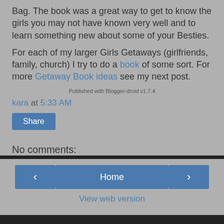Bag. The book was a great way to get to know the girls you may not have known very well and to learn something new about some of your Besties.
For each of my larger Girls Getaways (girlfriends, family, church) I try to do a book of some sort. For more Getaway Book ideas see my next post.
Published with Blogger-droid v1.7.4
kara at 5:33 AM
Share
No comments:
Post a Comment
Home | View web version